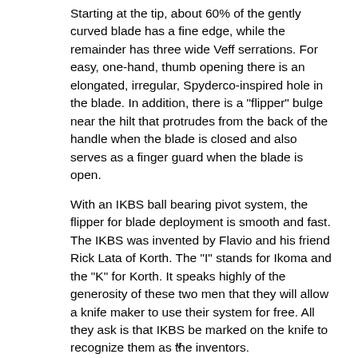Starting at the tip, about 60% of the gently curved blade has a fine edge, while the remainder has three wide Veff serrations. For easy, one-hand, thumb opening there is an elongated, irregular, Spyderco-inspired hole in the blade. In addition, there is a "flipper" bulge near the hilt that protrudes from the back of the handle when the blade is closed and also serves as a finger guard when the blade is open.
With an IKBS ball bearing pivot system, the flipper for blade deployment is smooth and fast. The IKBS was invented by Flavio and his friend Rick Lata of Korth. The "I" stands for Ikoma and the "K" for Korth. It speaks highly of the generosity of these two men that they will allow a knife maker to use their system for free. All they ask is that IKBS be marked on the knife to recognize them as the inventors.
With its hammered, two-tone handle, this knife will take you back to another era of knife making. The
v